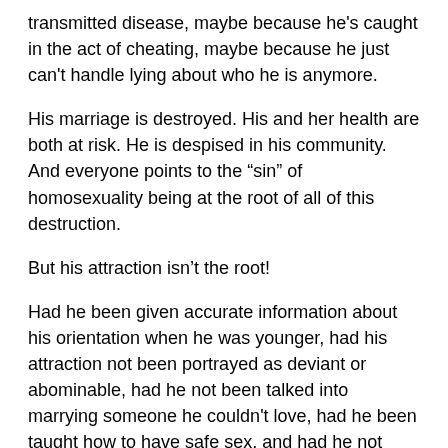transmitted disease, maybe because he's caught in the act of cheating, maybe because he just can't handle lying about who he is anymore.
His marriage is destroyed. His and her health are both at risk. He is despised in his community. And everyone points to the “sin” of homosexuality being at the root of all of this destruction.
But his attraction isn’t the root!
Had he been given accurate information about his orientation when he was younger, had his attraction not been portrayed as deviant or abominable, had he not been talked into marrying someone he couldn't love, had he been taught how to have safe sex, and had he not been driven into desperation and secrecy, he might never have lied about that trip away.